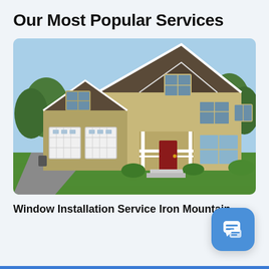Our Most Popular Services
[Figure (photo): Front exterior photo of a two-story suburban house with tan/olive siding, brown shingle roof, white garage doors (double), covered front porch with red door, green lawn, clear blue sky, and trees in background.]
Window Installation Service Iron Mountain,
[Figure (illustration): Blue rounded-square chat/messaging app button icon with white speech bubble icon, positioned in lower right corner.]